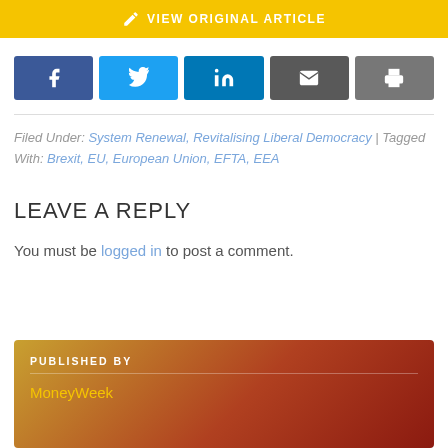[Figure (screenshot): Yellow banner with edit icon and 'VIEW ORIGINAL ARTICLE' text]
[Figure (screenshot): Social sharing buttons: Facebook, Twitter, LinkedIn, Email, Print]
Filed Under: System Renewal, Revitalising Liberal Democracy | Tagged With: Brexit, EU, European Union, EFTA, EEA
LEAVE A REPLY
You must be logged in to post a comment.
[Figure (other): Published By box with gradient background showing MoneyWeek]